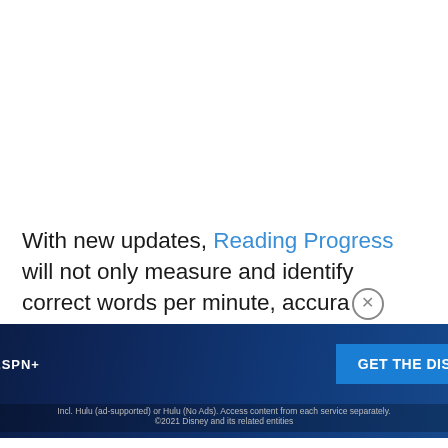With new updates, Reading Progress will not only measure and identify correct words per minute, accura…
[Figure (screenshot): Disney Bundle advertisement banner featuring Hulu, Disney+, and ESPN+ logos with 'GET THE DISNEY BUNDLE' call-to-action button and fine print about Hulu ad-supported service. ©2021 Disney and its related entities.]